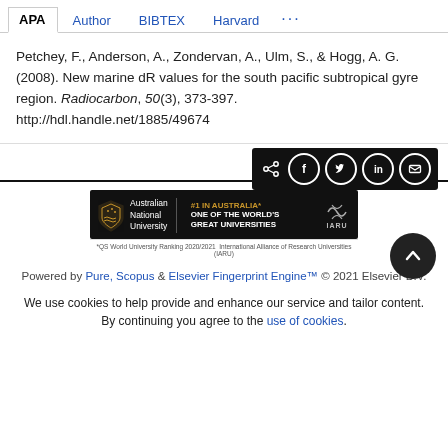APA | Author | BIBTEX | Harvard | ...
Petchey, F., Anderson, A., Zondervan, A., Ulm, S., & Hogg, A. G. (2008). New marine dR values for the south pacific subtropical gyre region. Radiocarbon, 50(3), 373-397. http://hdl.handle.net/1885/49674
[Figure (other): Social share icons bar (share, facebook, twitter, linkedin, email) on black background]
[Figure (logo): Australian National University banner: #1 IN AUSTRALIA* ONE OF THE WORLD'S GREAT UNIVERSITIES | IARU logo. *QS World University Ranking 2020/2021 International Alliance of Research Universities (IARU)]
Powered by Pure, Scopus & Elsevier Fingerprint Engine™ © 2021 Elsevier B.V.
We use cookies to help provide and enhance our service and tailor content. By continuing you agree to the use of cookies.